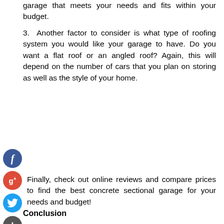garage that meets your needs and fits within your budget.
3. Another factor to consider is what type of roofing system you would like your garage to have. Do you want a flat roof or an angled roof? Again, this will depend on the number of cars that you plan on storing as well as the style of your home.
Finally, check out online reviews and compare prices to find the best concrete sectional garage for your needs and budget!
Conclusion